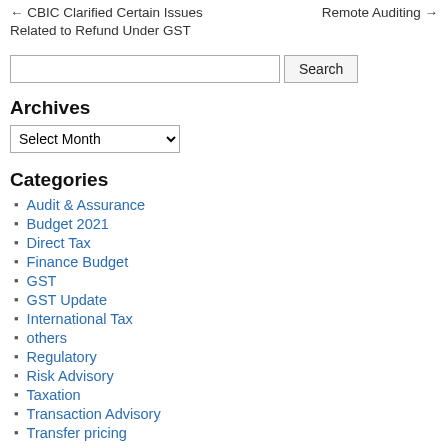← CBIC Clarified Certain Issues Related to Refund Under GST    Remote Auditing →
Search
Archives
Select Month
Categories
Audit & Assurance
Budget 2021
Direct Tax
Finance Budget
GST
GST Update
International Tax
others
Regulatory
Risk Advisory
Taxation
Transaction Advisory
Transfer pricing
Recent Posts